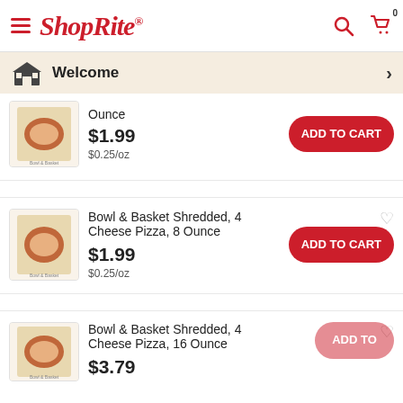ShopRite
Welcome
Ounce
$1.99
$0.25/oz
Bowl & Basket Shredded, 4 Cheese Pizza, 8 Ounce
$1.99
$0.25/oz
Bowl & Basket Shredded, 4 Cheese Pizza, 16 Ounce